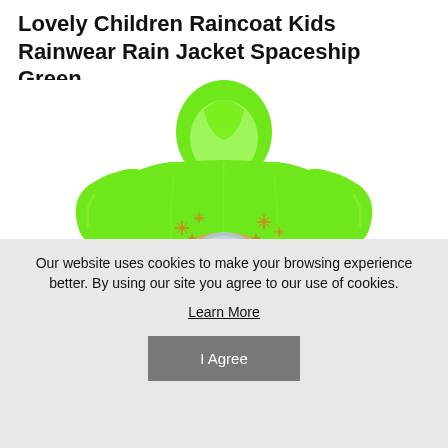Lovely Children Raincoat Kids Rainwear Rain Jacket Spaceship Green
[Figure (photo): Green children's raincoat/rain jacket with spaceship design on the back, shown from the back view. The jacket is bright neon green with a hood, long sleeves, and a spaceship graphic with stars/sparkles on the back.]
Our website uses cookies to make your browsing experience better. By using our site you agree to our use of cookies.
Learn More
I Agree